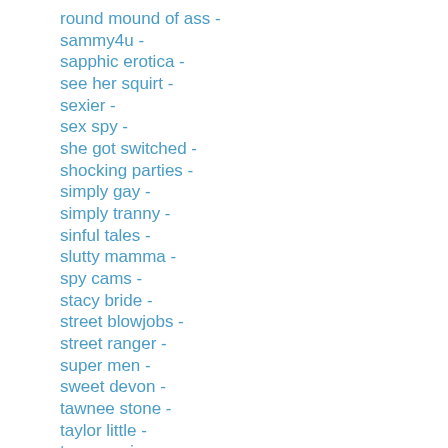round mound of ass -
sammy4u -
sapphic erotica -
see her squirt -
sexier -
sex spy -
she got switched -
shocking parties -
simply gay -
simply tranny -
sinful tales -
slutty mamma -
spy cams -
stacy bride -
street blowjobs -
street ranger -
super men -
sweet devon -
tawnee stone -
taylor little -
teen movie zone -
teens home alone -